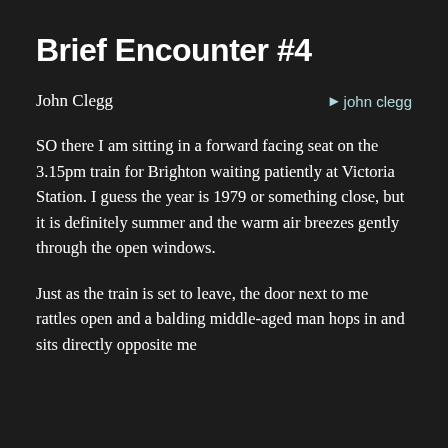Brief Encounter #4
John Clegg
SO there I am sitting in a forward facing seat on the 3.15pm train for Brighton waiting patiently at Victoria Station. I guess the year is 1979 or something close, but it is definitely summer and the warm air breezes gently through the open windows.
Just as the train is set to leave, the door next to me rattles open and a balding middle-aged man hops in and sits directly opposite me